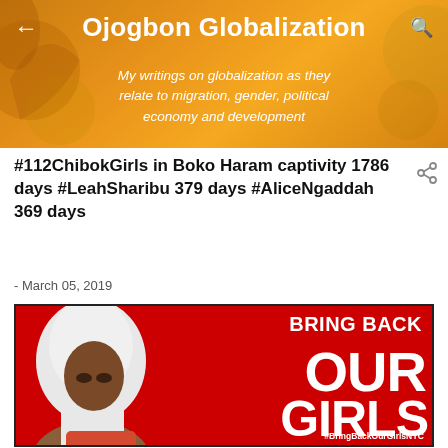Ojogbon Globalization — My writings on globalization as they relate to migration, gender, political economy and development
#112ChibokGirls in Boko Haram captivity 1786 days #LeahSharibu 379 days #AliceNgaddah 369 days
- March 05, 2019
[Figure (photo): Red background poster with a young woman in white hijab on the left side and the text BRING BACK OUR GIRLS in large white bold letters on the right, with hashtag #BringBackOurGirlsNYC at the bottom right.]